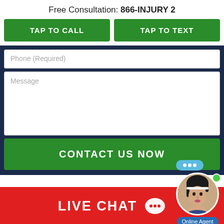Free Consultation: 866-INJURY 2
TAP TO CALL
TAP TO TEXT
Phone (Required)
Message
CONTACT US NOW
Practice Areas
LIVE CHAT